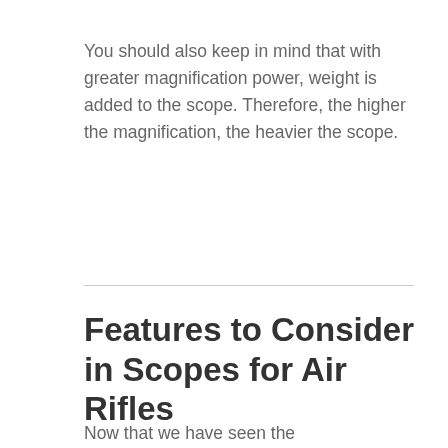You should also keep in mind that with greater magnification power, weight is added to the scope. Therefore, the higher the magnification, the heavier the scope.
Features to Consider in Scopes for Air Rifles
Now that we have seen the